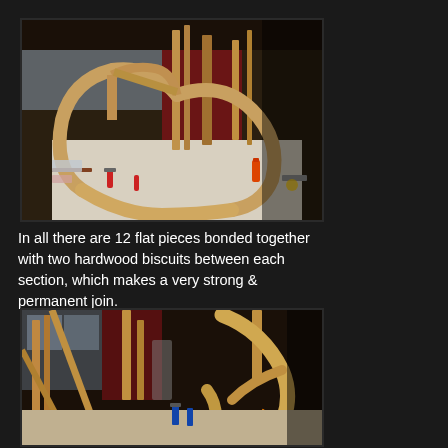[Figure (photo): Workshop photo showing curved wooden pieces assembled into an oval/circular frame shape lying on a workbench, with clamps and glue visible. Workshop background with tools and lumber.]
In all there are 12 flat pieces bonded together with two hardwood biscuits between each section, which makes a very strong & permanent join.
[Figure (photo): Workshop photo showing more wooden curved pieces and lumber standing upright in a cluttered woodworking workshop, with additional curved frame components visible.]